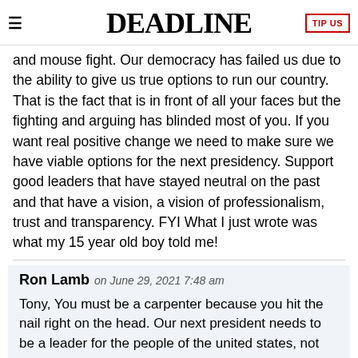DEADLINE
and mouse fight. Our democracy has failed us due to the ability to give us true options to run our country. That is the fact that is in front of all your faces but the fighting and arguing has blinded most of you. If you want real positive change we need to make sure we have viable options for the next presidency. Support good leaders that have stayed neutral on the past and that have a vision, a vision of professionalism, trust and transparency. FYI What I just wrote was what my 15 year old boy told me!
Ron Lamb on June 29, 2021 7:48 am
Tony, You must be a carpenter because you hit the nail right on the head. Our next president needs to be a leader for the people of the united states, not just for HIS political party. I am sick of the fighting of Bi-partisan crap, that is nothing more than a distraction of